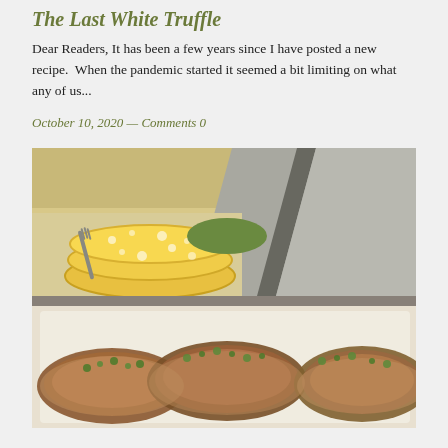The Last White Truffle
Dear Readers, It has been a few years since I have posted a new recipe.  When the pandemic started it seemed a bit limiting on what any of us...
October 10, 2020 — Comments 0
[Figure (photo): Top: stacked yellow patterned plates with fork, with gray striped linen/cloth draped behind. Bottom: cooked meat (pork chops or similar) on white platter with gravy and chopped parsley garnish.]